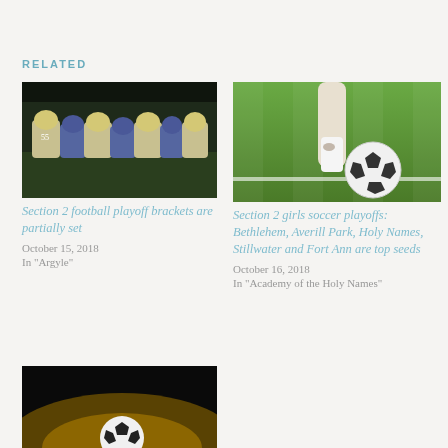RELATED
[Figure (photo): Football players lined up at line of scrimmage at night game]
Section 2 football playoff brackets are partially set
October 15, 2018
In "Argyle"
[Figure (photo): Soccer ball on grass field with player's leg in white sock kicking it]
Section 2 girls soccer playoffs: Bethlehem, Averill Park, Holy Names, Stillwater and Fort Ann are top seeds
October 16, 2018
In "Academy of the Holy Names"
[Figure (photo): Soccer ball close-up on dark background with golden light]